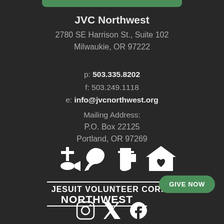JVC Northwest
2780 SE Harrison St., Suite 102
Milwaukie, OR 97222
p: 503.335.8202
f: 503.249.1118
e: info@jvcnorthwest.org
Mailing Address:
P.O. Box 22125
Portland, OR 97269
[Figure (logo): Jesuit Volunteer Corps Northwest logo with icons (cross/fish, dove, pitcher, house with heart) above the text JESUIT VOLUNTEER CORPS NORTHWEST]
[Figure (other): GIVE NOW green rounded button]
[Figure (other): Social media icons row (Instagram, Twitter/X, Facebook) partially visible at bottom]